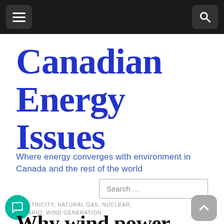[Navigation bar with hamburger menu and search icon]
Canadian Energy Issues
Where energy converges with environment in Canada and the rest of the world
Search …
ELECTRICITY, NATURAL GAS, NUCLEAR, ONTARIO, WIND GENERATION
Why wind power does